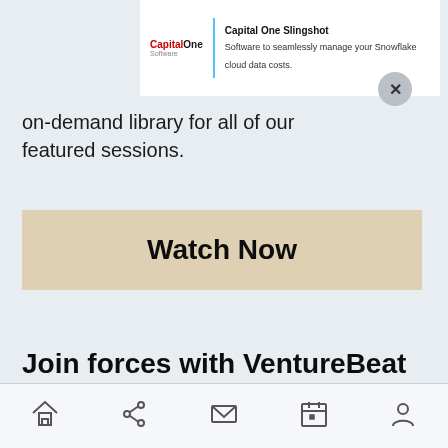[Figure (screenshot): Capital One Slingshot advertisement banner showing logo on left, divider, and text 'Capital One Slingshot — Software to seamlessly manage your Snowflake cloud data costs.']
on-demand library for all of our featured sessions.
Watch Now
Join forces with VentureBeat at our upcoming AI & data events
Sponsor VB Events
[Figure (other): Mobile browser bottom navigation bar with home, share, mail, calendar, and profile icons]